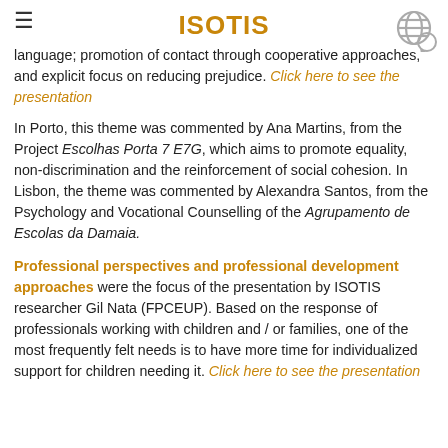ISOTIS
language; promotion of contact through cooperative approaches, and explicit focus on reducing prejudice. Click here to see the presentation
In Porto, this theme was commented by Ana Martins, from the Project Escolhas Porta 7 E7G, which aims to promote equality, non-discrimination and the reinforcement of social cohesion. In Lisbon, the theme was commented by Alexandra Santos, from the Psychology and Vocational Counselling of the Agrupamento de Escolas da Damaia.
Professional perspectives and professional development approaches were the focus of the presentation by ISOTIS researcher Gil Nata (FPCEUP). Based on the response of professionals working with children and / or families, one of the most frequently felt needs is to have more time for individualized support for children needing it. Click here to see the presentation